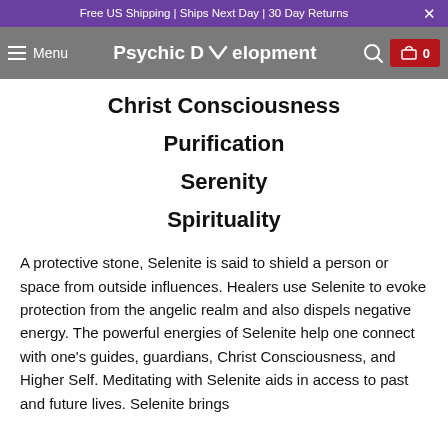Free US Shipping | Ships Next Day | 30 Day Returns
Psychic Development
Christ Consciousness
Purification
Serenity
Spirituality
A protective stone, Selenite is said to shield a person or space from outside influences. Healers use Selenite to evoke protection from the angelic realm and also dispels negative energy. The powerful energies of Selenite help one connect with one's guides, guardians, Christ Consciousness, and Higher Self. Meditating with Selenite aids in access to past and future lives. Selenite brings